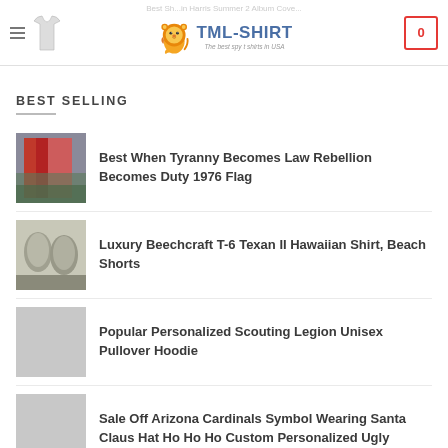TML-SHIRT — The best spy t shirts in USA
BEST SELLING
Best When Tyranny Becomes Law Rebellion Becomes Duty 1976 Flag
Luxury Beechcraft T-6 Texan II Hawaiian Shirt, Beach Shorts
Popular Personalized Scouting Legion Unisex Pullover Hoodie
Sale Off Arizona Cardinals Symbol Wearing Santa Claus Hat Ho Ho Ho Custom Personalized Ugly